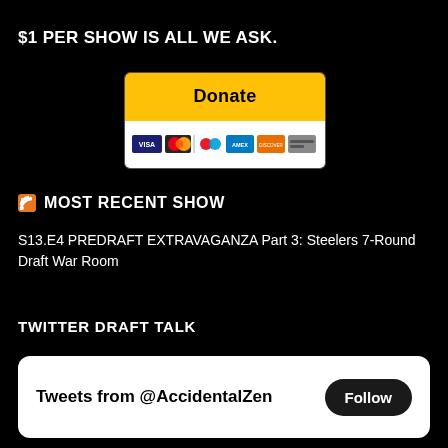$1 PER SHOW IS ALL WE ASK.
[Figure (other): PayPal Donate button with payment card logos (Visa, Mastercard, American Express, Discover)]
MOST RECENT SHOW
S13.E4 PREDRAFT EXTRAVAGANZA Part 3: Steelers 7-Round Draft War Room
TWITTER DRAFT TALK
[Figure (screenshot): Twitter widget showing 'Tweets from @AccidentalZen' with a Follow button]